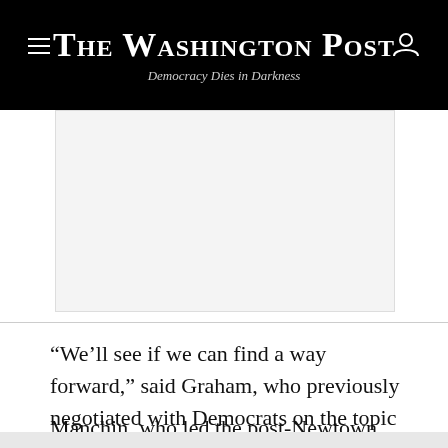The Washington Post
Democracy Dies in Darkness
[Figure (other): Advertisement block, light gray rectangle]
“We’ll see if we can find a way forward,” said Graham, who previously negotiated with Democrats on the topic after mass shootings in 2019.
Manchin, who led the post-Newtown effort to expand